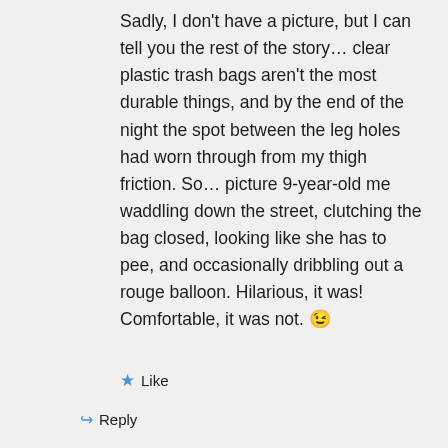Sadly, I don't have a picture, but I can tell you the rest of the story… clear plastic trash bags aren't the most durable things, and by the end of the night the spot between the leg holes had worn through from my thigh friction. So… picture 9-year-old me waddling down the street, clutching the bag closed, looking like she has to pee, and occasionally dribbling out a rouge balloon. Hilarious, it was! Comfortable, it was not. 😉
★ Like
↪ Reply